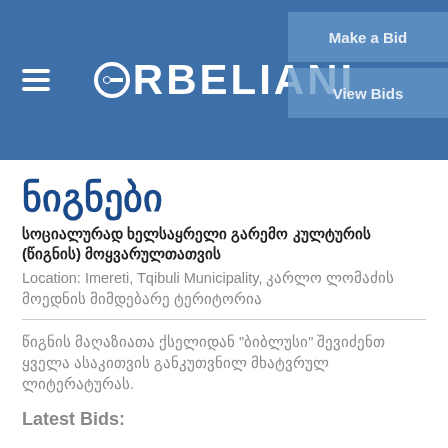ORBELIANI | Make a Bid | View Bids
ნიგნები
სოციალურად ხელსაყრელი გარემო კულტურის (წიგნის) მოყვარულთათვის
Location: Imereti, Tqibuli Municipality, კარლო ლომაძის მოედნის მიმდებარე ტერიტორია
წიგნის მაღაზიათა ქსელიდან "ბიბლუსი" შევიძენთ ყველა ასაკითვის განკუთვნილ მხატვრულ ლიტერატურას.
Latest Bids:
| VENDOR NAME | VENDOR CONTACT |
| --- | --- |
| VENDOR NAME | VENDOR CONTACT |